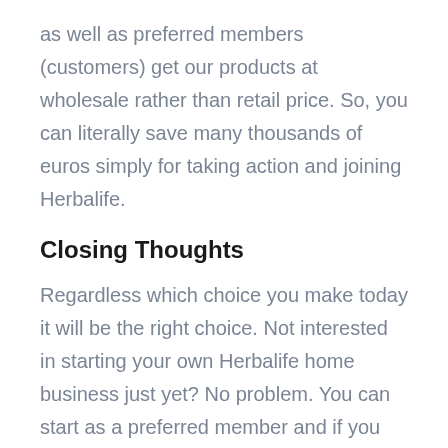as well as preferred members (customers) get our products at wholesale rather than retail price. So, you can literally save many thousands of euros simply for taking action and joining Herbalife.
Closing Thoughts
Regardless which choice you make today it will be the right choice. Not interested in starting your own Herbalife home business just yet? No problem. You can start as a preferred member and if you like our products you can later convert to a distributor if you wish. In fact, many preferred members on my team actually have later